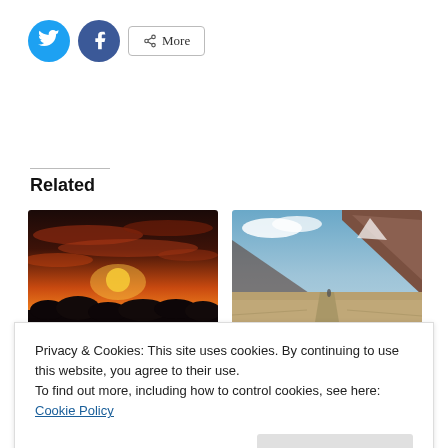[Figure (other): Social share buttons: Twitter (blue circle with bird icon), Facebook (blue circle with f icon), and a More button with share icon]
Related
[Figure (photo): Sunset photo with orange and red sky, sun visible through clouds, dark silhouetted landscape at bottom]
[Figure (photo): Mountain landscape photo with rocky mountains, blue sky with clouds, and a dirt path through dry grassy plain with a lone figure]
Weekly Photo Challenge:
Weekly Photo Challenge:
Privacy & Cookies: This site uses cookies. By continuing to use this website, you agree to their use.
To find out more, including how to control cookies, see here: Cookie Policy
Close and accept